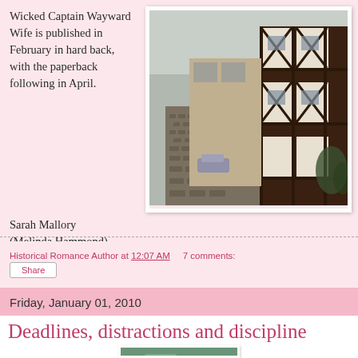Wicked Captain Wayward Wife is published in February in hard back, with the paperback following in April.
[Figure (photo): Photograph of a historic cobblestone street with timber-framed Tudor buildings on the right side, framed with a white border.]
Sarah Mallory (Melinda Hammond)
Historical Romance Author at 12:07 AM    7 comments:
Share
Friday, January 01, 2010
Deadlines, distractions and discipline
[Figure (photo): Partial view of a small photograph at the bottom of the page, showing a landscape scene.]